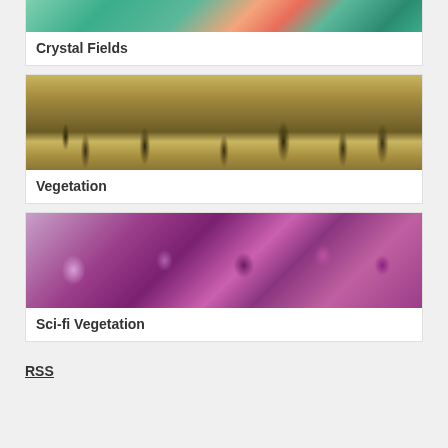[Figure (photo): Partial image at top showing colorful floral and teal/green fabric or textile patterns]
Crystal Fields
[Figure (photo): Photograph of vegetation or plants with golden/yellow background tones and dark tree-like shapes]
Vegetation
[Figure (photo): Photograph of purple and magenta flowers or sci-fi vegetation with pink and violet tones]
Sci-fi Vegetation
RSS